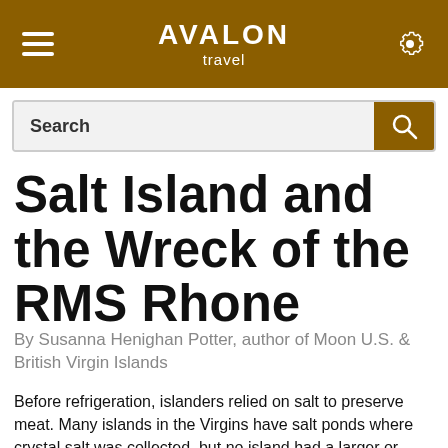AVALON travel
[Figure (other): Search bar with magnifying glass icon on brown background button]
Salt Island and the Wreck of the RMS Rhone
By Susanna Henighan Potter, author of Moon U.S. & British Virgin Islands
Before refrigeration, islanders relied on salt to preserve meat. Many islands in the Virgins have salt ponds where crystal salt was collected, but no island had a larger or more productive pond than Salt Island…